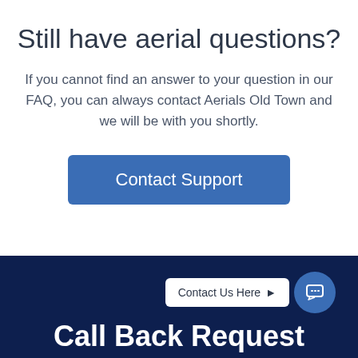Still have aerial questions?
If you cannot find an answer to your question in our FAQ, you can always contact Aerials Old Town and we will be with you shortly.
[Figure (other): Blue 'Contact Support' button]
[Figure (other): Dark navy footer section with 'Contact Us Here' badge with arrow and chat icon circle, and 'Call Back Request' heading in white]